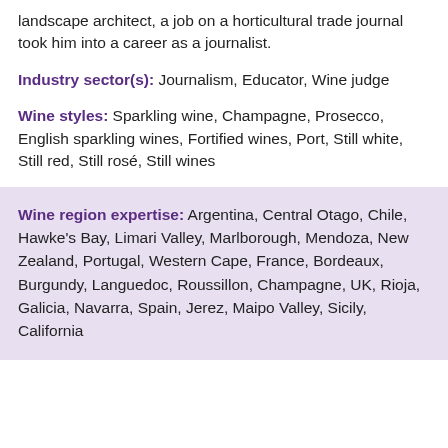landscape architect, a job on a horticultural trade journal took him into a career as a journalist.
Industry sector(s): Journalism, Educator, Wine judge
Wine styles: Sparkling wine, Champagne, Prosecco, English sparkling wines, Fortified wines, Port, Still white, Still red, Still rosé, Still wines
Wine region expertise: Argentina, Central Otago, Chile, Hawke's Bay, Limari Valley, Marlborough, Mendoza, New Zealand, Portugal, Western Cape, France, Bordeaux, Burgundy, Languedoc, Roussillon, Champagne, UK, Rioja, Galicia, Navarra, Spain, Jerez, Maipo Valley, Sicily, California